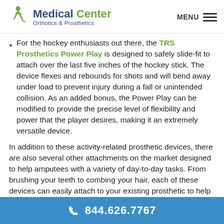Medical Center Orthotics & Prosthetics | MENU
For the hockey enthusiasts out there, the TRS Prosthetics Power Play is designed to safely slide-fit to attach over the last five inches of the hockey stick. The device flexes and rebounds for shots and will bend away under load to prevent injury during a fall or unintended collision. As an added bonus, the Power Play can be modified to provide the precise level of flexibility and power that the player desires, making it an extremely versatile device.
In addition to these activity-related prosthetic devices, there are also several other attachments on the market designed to help amputees with a variety of day-to-day tasks. From brushing your teeth to combing your hair, each of these devices can easily attach to your existing prosthetic to help
844.626.7767